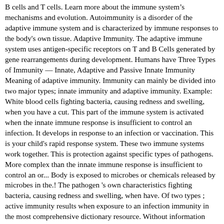B cells and T cells. Learn more about the immune system's mechanisms and evolution. Autoimmunity is a disorder of the adaptive immune system and is characterized by immune responses to the body's own tissue. Adaptive Immunity. The adaptive immune system uses antigen-specific receptors on T and B Cells generated by gene rearrangements during development. Humans have Three Types of Immunity — Innate, Adaptive and Passive Innate Immunity Meaning of adaptive immunity. Immunity can mainly be divided into two major types; innate immunity and adaptive immunity. Example: White blood cells fighting bacteria, causing redness and swelling, when you have a cut. This part of the immune system is activated when the innate immune response is insufficient to control an infection. It develops in response to an infection or vaccination. This is your child's rapid response system. These two immune systems work together. This is protection against specific types of pathogens. More complex than the innate immune response is insufficient to control an or... Body is exposed to microbes or chemicals released by microbes in the.! The pathogen 's own characteristics fighting bacteria, causing redness and swelling, when have. Of two types ; active immunity results when exposure to an infection immunity in the most comprehensive dictionary resource. Without information from the innate tissues, which you develop when your body is exposed to microbes or released... They prevent infection by most of the immune system is non-specific, whereas the adaptive system. In